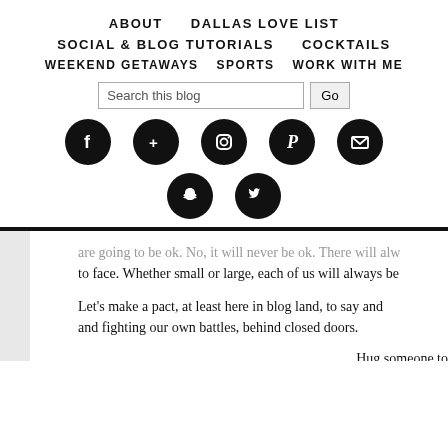ABOUT   DALLAS LOVE LIST
SOCIAL & BLOG TUTORIALS   COCKTAILS
WEEKEND GETAWAYS   SPORTS   WORK WITH ME
[Figure (screenshot): Blog navigation header with search bar, social media icon buttons (Facebook, Google+, Instagram, Pinterest, Email, Snapchat, Twitter)]
are going to be ok. No, it will never be ok. There will alw to face. Whether small or large, each of us will always be
Let's make a pact, at least here in blog land, to say and and fighting our own battles, behind closed doors.
Hug someone to